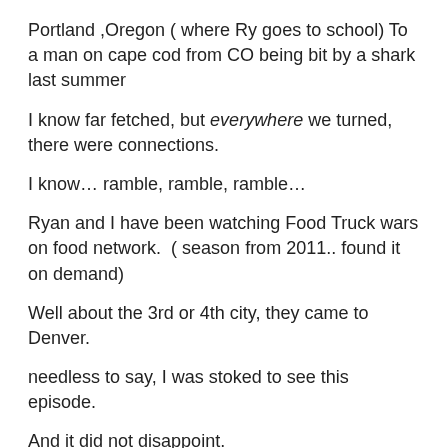Portland ,Oregon ( where Ry goes to school) To a man on cape cod from CO being bit by a shark last summer
I know far fetched, but everywhere we turned, there were connections.
I know… ramble, ramble, ramble…
Ryan and I have been watching Food Truck wars on food network.  ( season from 2011.. found it on demand)
Well about the 3rd or 4th city, they came to Denver.
needless to say, I was stoked to see this episode.
And it did not disappoint.
One of the food trucks was from Boston ( a grilled cheese truck.. YUM!)